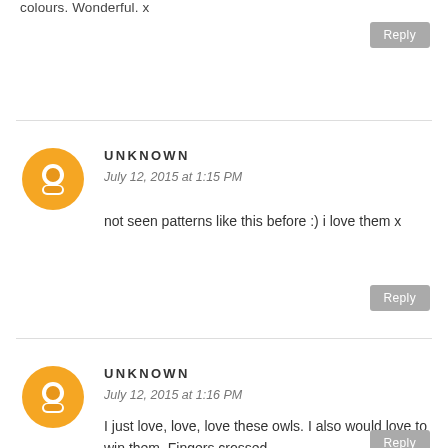colours. Wonderful. x
Reply
UNKNOWN
July 12, 2015 at 1:15 PM
not seen patterns like this before :) i love them x
Reply
UNKNOWN
July 12, 2015 at 1:16 PM
I just love, love, love these owls. I also would love to win them. Fingers crossed.
Reply